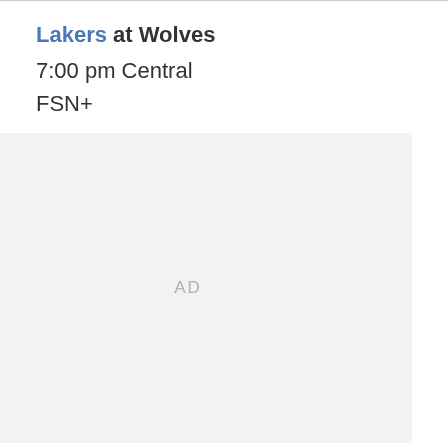Lakers at Wolves
7:00 pm Central
FSN+
[Figure (other): Advertisement placeholder box with 'AD' text centered in gray background]
Since their win over the Timberwolves in LA on December 20th improved their record to 13-13, the Lakers have been in free fall. They have lost 18 of their